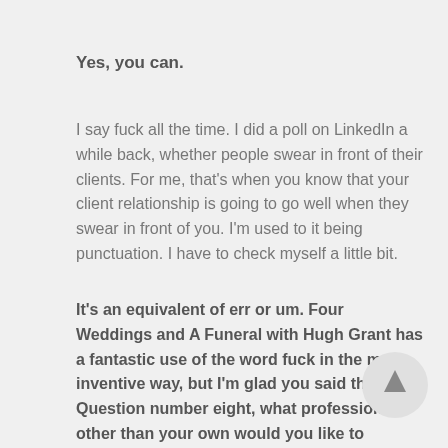Yes, you can.
I say fuck all the time. I did a poll on LinkedIn a while back, whether people swear in front of their clients. For me, that's when you know that your client relationship is going to go well when they swear in front of you. I'm used to it being punctuation. I have to check myself a little bit.
It's an equivalent of err or um. Four Weddings and A Funeral with Hugh Grant has a fantastic use of the word fuck in the most inventive way, but I'm glad you said that. Question number eight, what profession other than your own would you like to attempt?